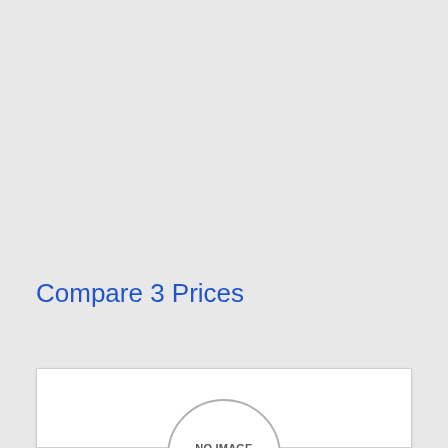Compare 3 Prices
[Figure (other): Product card placeholder with 'NO IMAGE AVAILABLE' circle badge on white card background]